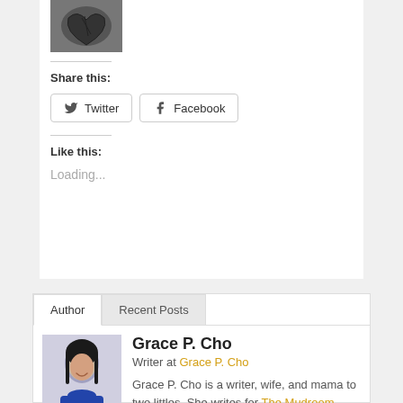[Figure (photo): Small thumbnail photo of a medical/heart X-ray image]
Share this:
[Figure (other): Twitter share button with Twitter bird icon]
[Figure (other): Facebook share button with Facebook icon]
Like this:
Loading...
Author | Recent Posts (tabs)
[Figure (photo): Photo of Grace P. Cho, a woman with long dark hair wearing a blue top, smiling]
Grace P. Cho
Writer at Grace P. Cho
Grace P. Cho is a writer, wife, and mama to two littles. She writes for The Mudroom, GraceTable, and Inheritance